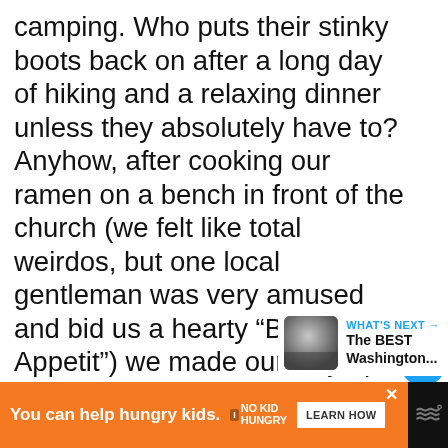camping. Who puts their stinky boots back on after a long day of hiking and a relaxing dinner unless they absolutely have to? Anyhow, after cooking our ramen on a bench in front of the church (we felt like total weirdos, but one local gentleman was very amused and bid us a hearty “Bon Appetit”) we made our way up the hillside. We set up camp quickly as the last of the light receded behind the high peaks and were asleep in no time.
[Figure (screenshot): Blue circular heart/like button and share button overlay on the right side of the article text]
[Figure (screenshot): What's Next widget showing a thumbnail image and text 'The BEST Washington...']
[Figure (screenshot): Orange advertisement banner at bottom: 'You can help hungry kids. No Kid Hungry. LEARN HOW']